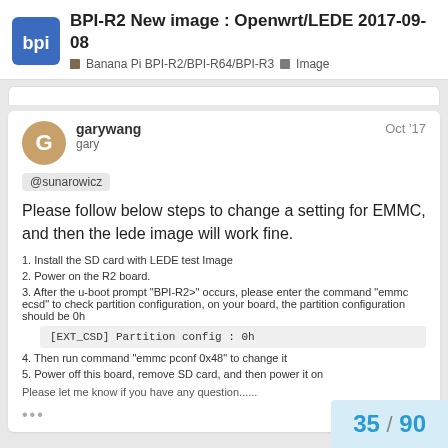BPI-R2 New image : Openwrt/LEDE 2017-09-08 | Banana Pi BPI-R2/BPI-R64/BPI-R3 | Image
garywang gary Oct '17
@sunarowicz
Please follow below steps to change a setting for EMMC, and then the lede image will work fine.
1. Install the SD card with LEDE test Image
2. Power on the R2 board.
3. After the u-boot prompt "BPI-R2>" occurs, please enter the command "emmc ecsd" to check partition configuration, on your board, the partition configuration should be 0h
[EXT_CSD] Partition config      : 0h
4. Then run command "emmc pconf 0x48" to change it
5. Power off this board, remove SD card, and then power it on
Please let me know if you have any question......
35 / 90